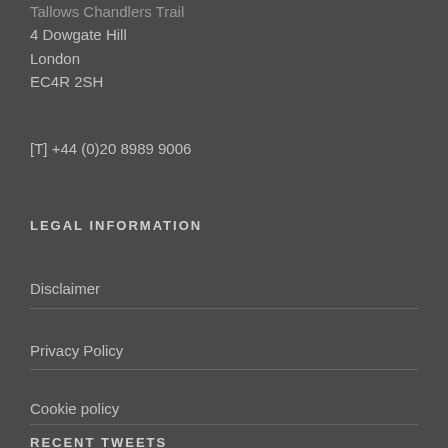Tallows Chandlers Trail
4 Dowgate Hill
London
EC4R 2SH
[T] +44 (0)20 8989 9006
LEGAL INFORMATION
Disclaimer
Privacy Policy
Cookie policy
RECENT TWEETS